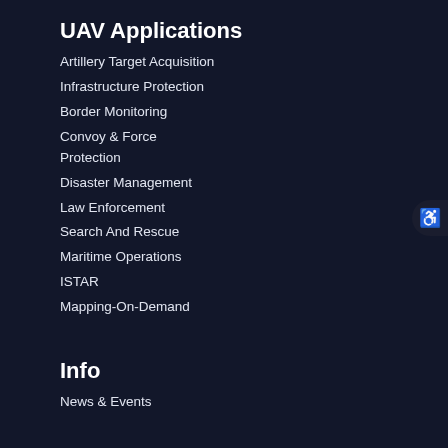UAV Applications
Artillery Target Acquisition
Infrastructure Protection
Border Monitoring
Convoy & Force Protection
Disaster Management
Law Enforcement
Search And Rescue
Maritime Operations
ISTAR
Mapping-On-Demand
Info
News & Events